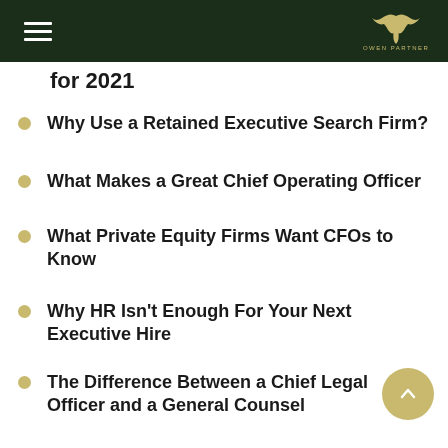Cowen Partners Executive Search
for 2021
Why Use a Retained Executive Search Firm?
What Makes a Great Chief Operating Officer
What Private Equity Firms Want CFOs to Know
Why HR Isn't Enough For Your Next Executive Hire
The Difference Between a Chief Legal Officer and a General Counsel
Recruiting and Hiring in the Age of Covid-19